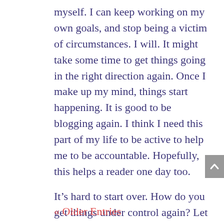myself. I can keep working on my own goals, and stop being a victim of circumstances. I will. It might take some time to get things going in the right direction again. Once I make up my mind, things start happening. It is good to be blogging again. I think I need this part of my life to be active to help me to be accountable. Hopefully, this helps a reader one day too.
It’s hard to start over. How do you get things under control again? Let me know, maybe you can help me as I try to help you.
« Older Entries